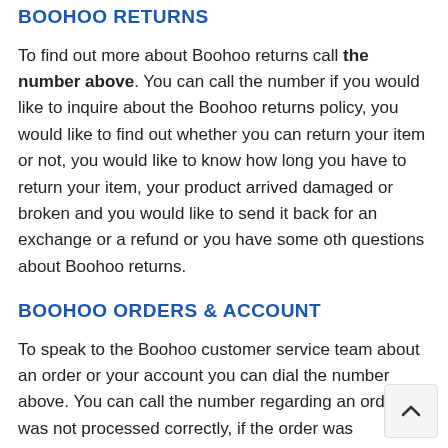BOOHOO RETURNS
To find out more about Boohoo returns call the number above. You can call the number if you would like to inquire about the Boohoo returns policy, you would like to find out whether you can return your item or not, you would like to know how long you have to return your item, your product arrived damaged or broken and you would like to send it back for an exchange or a refund or you have some oth questions about Boohoo returns.
BOOHOO ORDERS & ACCOUNT
To speak to the Boohoo customer service team about an order or your account you can dial the number above. You can call the number regarding an order if it was not processed correctly, if the order was cancelled, the order arrived and it was wrong or you can call about your account if the information is